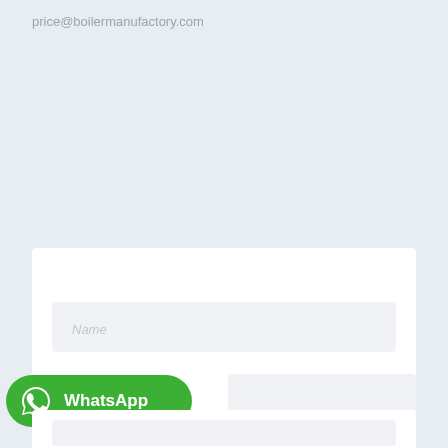price@boilermanufactory.com
[Figure (screenshot): Web contact form with a Name input field, a WhatsApp button (green with WhatsApp logo), and a second form section below.]